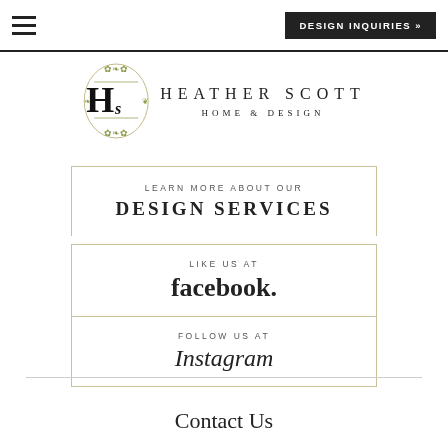DESIGN INQUIRIES »
[Figure (logo): Heather Scott Home & Design logo with ornate emblem featuring stylized HS monogram surrounded by decorative foliage]
HEATHER SCOTT HOME & DESIGN
LEARN MORE ABOUT OUR DESIGN SERVICES
LIKE US AT facebook.
FOLLOW US AT Instagram
Contact Us